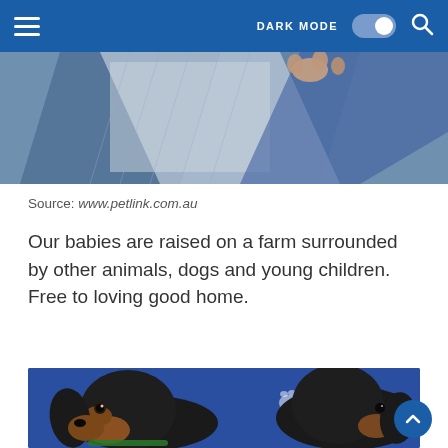DARK MODE [toggle] [search]
[Figure (photo): Partial view of a textured blue/grey mat or rug with paw visible at top, cropped photo from a pet listing.]
Source: www.petlink.com.au
Our babies are raised on a farm surrounded by other animals, dogs and young children. Free to loving good home.
[Figure (photo): Two young dachshund puppies, black and tan coloring, lying on a blue blanket with white paw print pattern.]